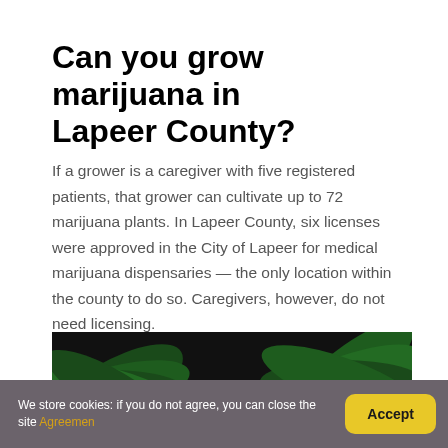Can you grow marijuana in Lapeer County?
If a grower is a caregiver with five registered patients, that grower can cultivate up to 72 marijuana plants. In Lapeer County, six licenses were approved in the City of Lapeer for medical marijuana dispensaries — the only location within the county to do so. Caregivers, however, do not need licensing.
[Figure (screenshot): YouTube video thumbnail showing marijuana/cannabis leaves background with text 'TOP 5 CANNABUSINESS QUESTIONS' and a red YouTube play button overlay]
We store cookies: if you do not agree, you can close the site Agreemen